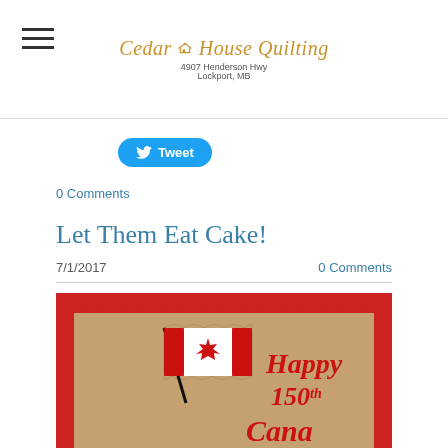Cedar House Quilting
4907 Henderson Hwy
Lockport, MB
[Figure (logo): Cedar House Quilting logo with house icon, script text, and address]
[Figure (other): Twitter Tweet button (blue rounded rectangle)]
0 Comments
Let Them Eat Cake!
7/1/2017
0 Comments
[Figure (photo): Close-up photo of a cake decorated with a Canadian flag made of fondant and red cursive text reading 'Happy 150th Canada' on a beige frosted surface with red border]